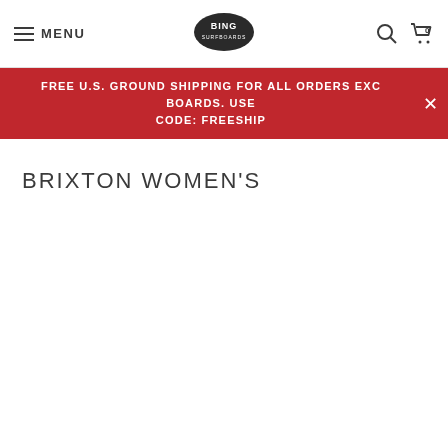MENU | BING SURFBOARDS | 🔍 🛒 0
FREE U.S. GROUND SHIPPING FOR ALL ORDERS EXC BOARDS. USE CODE: FREESHIP
BRIXTON WOMEN'S